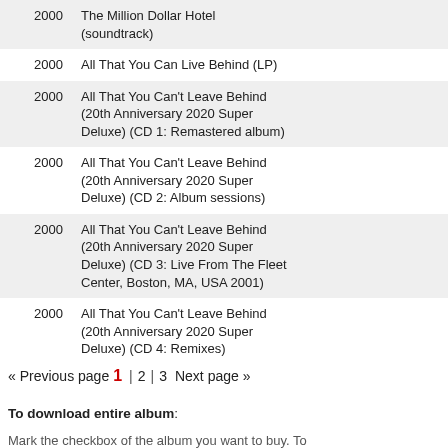| Year | Album |
| --- | --- |
| 2000 | The Million Dollar Hotel (soundtrack) |
| 2000 | All That You Can Live Behind (LP) |
| 2000 | All That You Can't Leave Behind (20th Anniversary 2020 Super Deluxe) (CD 1: Remastered album) |
| 2000 | All That You Can't Leave Behind (20th Anniversary 2020 Super Deluxe) (CD 2: Album sessions) |
| 2000 | All That You Can't Leave Behind (20th Anniversary 2020 Super Deluxe) (CD 3: Live From The Fleet Center, Boston, MA, USA 2001) |
| 2000 | All That You Can't Leave Behind (20th Anniversary 2020 Super Deluxe) (CD 4: Remixes) |
« Previous page  1 | 2 | 3  Next page »
To download entire album:
Mark the checkbox of the album you want to buy. To